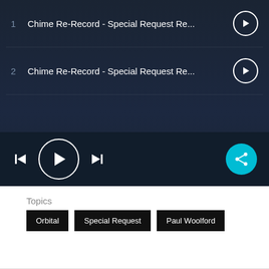[Figure (screenshot): Music player interface showing two tracks titled 'Chime Re-Record - Special Request Re...' with play buttons, and a controls bar with prev/play/next and share button]
Topics
Orbital
Special Request
Paul Woolford